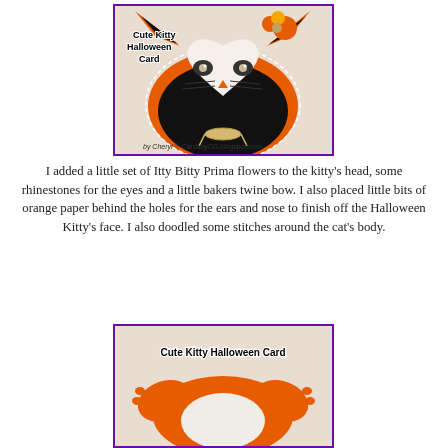[Figure (photo): Photo of a cute kitty Halloween card - a black cat face with white heart-shaped inner face, orange accents with stitched outline, orange Prima flowers and rhinestone eyes, bakers twine bow. Text overlay 'Cute Kitty Halloween Card' and 'by Cheryl @ CardsbyCG.blogspot.com']
I added a little set of Itty Bitty Prima flowers to the kitty's head, some rhinestones for the eyes and a little bakers twine bow. I also placed little bits of orange paper behind the holes for the ears and nose to finish off the Halloween Kitty's face. I also doodled some stitches around the cat's body.
[Figure (photo): Photo showing the back/orange side of the cute kitty Halloween card - orange cat shape cutout with 'Cute Kitty Halloween Card' text, showing the card from reverse angle revealing the orange paper backing]